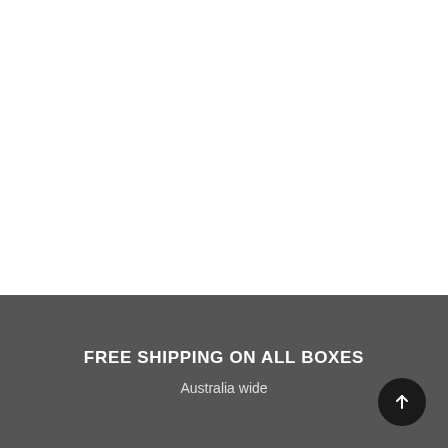FREE SHIPPING ON ALL BOXES
Australia wide